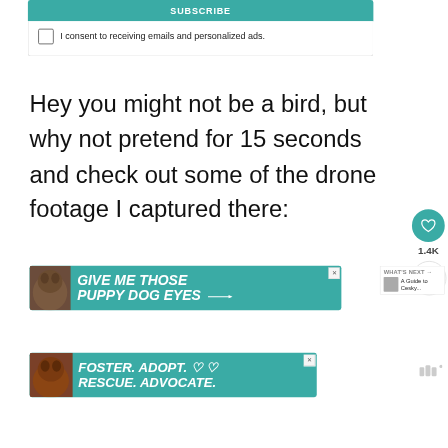SUBSCRIBE
I consent to receiving emails and personalized ads.
Hey you might not be a bird, but why not pretend for 15 seconds and check out some of the drone footage I captured there:
[Figure (screenshot): Like button (heart icon) in teal circle with count 1.4K below, and a share button below that]
[Figure (infographic): Advertisement banner: dog image with text GIVE ME THOSE PUPPY DOG EYES on teal background, with X close button and WHAT'S NEXT arrow with A Guide to Cesky... thumbnail]
[Figure (infographic): Advertisement banner: dog image with text FOSTER. ADOPT. RESCUE. ADVOCATE. on teal background with close X button]